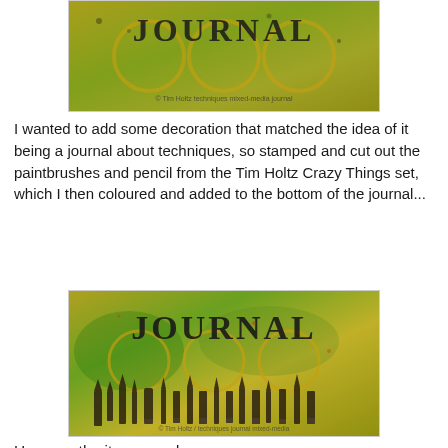[Figure (photo): Close-up photograph of a decorated journal cover with 'JOURNAL' text, mixed-media colorful background with greens, yellows, and golds, showing the top portion of the cover with circular and swirl motifs.]
I wanted to add some decoration that matched the idea of it being a journal about techniques, so stamped and cut out the paintbrushes and pencil from the Tim Holtz Crazy Things set, which I then coloured and added to the bottom of the journal...
[Figure (photo): Close-up photograph of the same decorated journal cover showing the full 'JOURNAL' text in dark letters on a colorful mixed-media background with paintbrushes and pencils stamped along the bottom edge.]
Here are the items used: